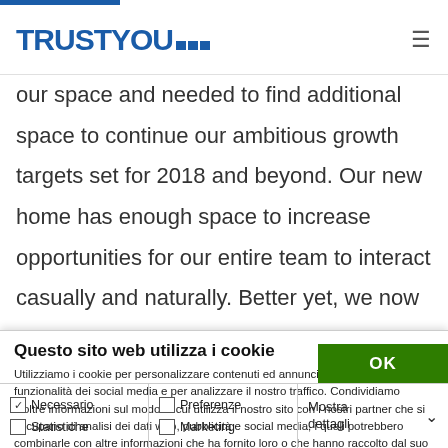TRUSTYOU
our space and needed to find additional space to continue our ambitious growth targets set for 2018 and beyond. Our new home has enough space to increase opportunities for our entire team to interact casually and naturally. Better yet, we now have more
Questo sito web utilizza i cookie
Utilizziamo i cookie per personalizzare contenuti ed annunci, per fornire funzionalità dei social media e per analizzare il nostro traffico. Condividiamo inoltre informazioni sul modo in cui utilizza il nostro sito con i nostri partner che si occupano di analisi dei dati web, pubblicità e social media, i quali potrebbero combinarle con altre informazioni che ha fornito loro o che hanno raccolto dal suo utilizzo dei loro servizi.
OK
Necessario  Preferenze  Statistiche  Marketing  Mostra dettagli